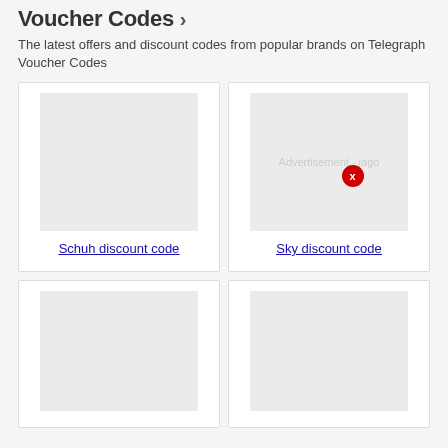Voucher Codes ›
The latest offers and discount codes from popular brands on Telegraph Voucher Codes
[Figure (screenshot): Schuh discount code card with grey placeholder image]
Schuh discount code
[Figure (screenshot): Sky discount code card with grey placeholder image and advertisement close button]
Sky discount code
[Figure (screenshot): Bottom left card with grey placeholder image]
[Figure (screenshot): Bottom right card with grey placeholder image]